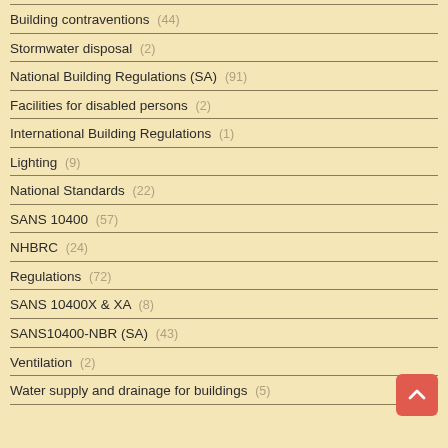Building contraventions (44)
Stormwater disposal (2)
National Building Regulations (SA) (91)
Facilities for disabled persons (2)
International Building Regulations (1)
Lighting (9)
National Standards (22)
SANS 10400 (57)
NHBRC (24)
Regulations (72)
SANS 10400X & XA (8)
SANS10400-NBR (SA) (43)
Ventilation (2)
Water supply and drainage for buildings (5)